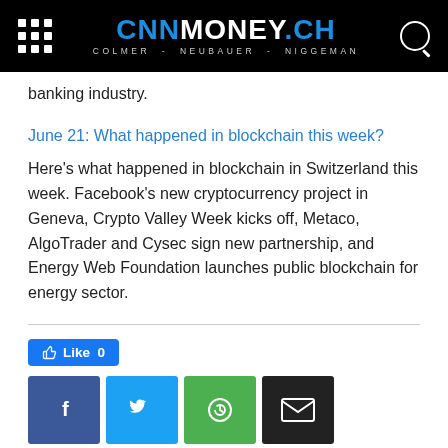CNNMONEY.CH — COLMER - NEUBAUER - NIGGEMAN
banking industry.
June 21: What happened in blockchain this week?
Here's what happened in blockchain in Switzerland this week. Facebook's new cryptocurrency project in Geneva, Crypto Valley Week kicks off, Metaco, AlgoTrader and Cysec sign new partnership, and Energy Web Foundation launches public blockchain for energy sector.
[Figure (other): Social sharing buttons: Like 0 button (blue), Facebook (blue), Twitter (cyan), WhatsApp (green), Email (black)]